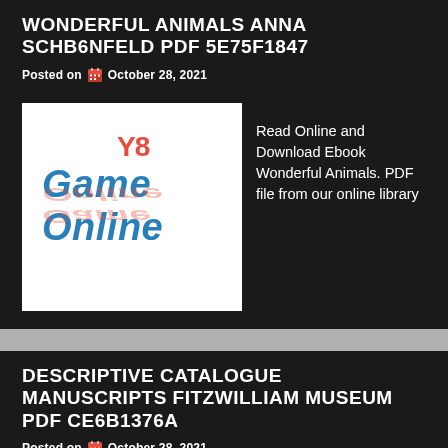WONDERFUL ANIMALS ANNA SCHB6NFELD PDF 5E75F1847
Posted on  October 28, 2021
[Figure (logo): Y8 Game Online logo with blue stylized text and red reflection below on white background]
Read Online and Download Ebook Wonderful Animals. PDF file from our online library
DESCRIPTIVE CATALOGUE MANUSCRIPTS FITZWILLIAM MUSEUM PDF CE6B1376A
Posted on  October 28, 2021